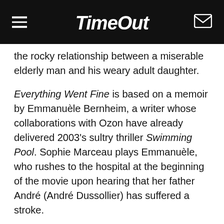Time Out
the rocky relationship between a miserable elderly man and his weary adult daughter.
Everything Went Fine is based on a memoir by Emmanuèle Bernheim, a writer whose collaborations with Ozon have already delivered 2003's sultry thriller Swimming Pool. Sophie Marceau plays Emmanuèle, who rushes to the hospital at the beginning of the movie upon hearing that her father André (André Dussollier) has suffered a stroke.
Shortly after being admitted to hospital, André asks Emmanuèle to arrange for an assisted suicide – a plea André doesn't back away from even as his physical condition improves. Though André was never a particularly good father, she and her sister find it painful to grapple